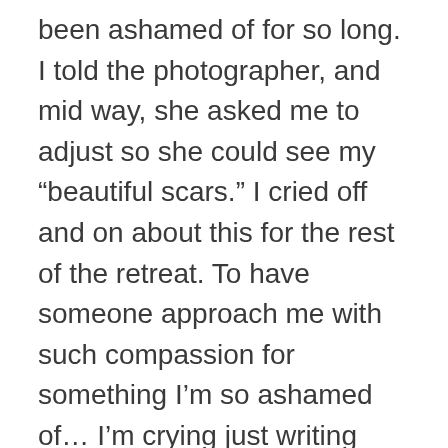been ashamed of for so long. I told the photographer, and mid way, she asked me to adjust so she could see my “beautiful scars.” I cried off and on about this for the rest of the retreat. To have someone approach me with such compassion for something I’m so ashamed of… I’m crying just writing this. Everyone stressed how they love their job to help women like us. Everything is catered so we can feel special. Every fucking detail is thought out with us in mind.

They offer group therapy. Group therapy